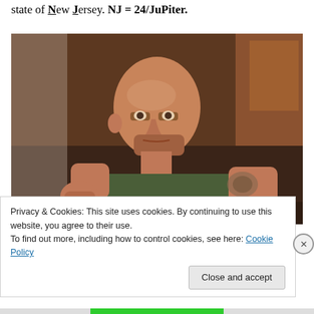state of New Jersey. NJ = 24/JuPiter.
[Figure (photo): A middle-aged bald man with stubble wearing a sleeveless green shirt, pointing or gesturing with his fist toward the camera, showing a tattoo on his upper arm. Dark, moody background suggesting a bar or indoor setting.]
Privacy & Cookies: This site uses cookies. By continuing to use this website, you agree to their use.
To find out more, including how to control cookies, see here: Cookie Policy
Close and accept